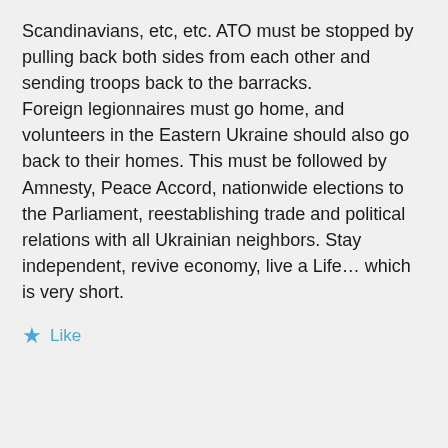Scandinavians, etc, etc. ATO must be stopped by pulling back both sides from each other and sending troops back to the barracks. Foreign legionnaires must go home, and volunteers in the Eastern Ukraine should also go back to their homes. This must be followed by Amnesty, Peace Accord, nationwide elections to the Parliament, reestablishing trade and political relations with all Ukrainian neighbors. Stay independent, revive economy, live a Life… which is very short.
Like